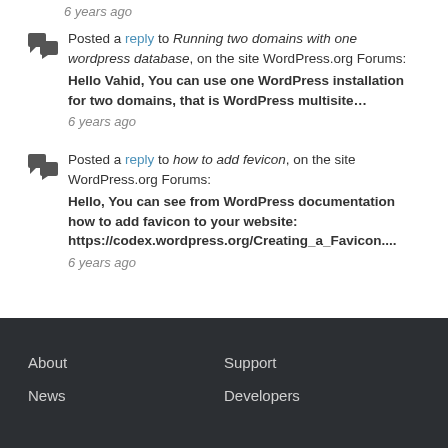6 years ago
Posted a reply to Running two domains with one wordpress database, on the site WordPress.org Forums:
Hello Vahid, You can use one WordPress installation for two domains, that is WordPress multisite…
6 years ago
Posted a reply to how to add fevicon, on the site WordPress.org Forums:
Hello, You can see from WordPress documentation how to add favicon to your website: https://codex.wordpress.org/Creating_a_Favicon....
6 years ago
About  Support  News  Developers